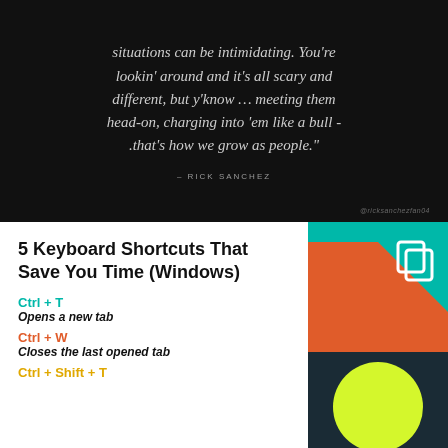[Figure (illustration): Dark background quote image with italic white/grey text of a Rick Sanchez quote and attribution in small caps, watermark at bottom right.]
5 Keyboard Shortcuts That Save You Time (Windows)
Ctrl + T
Opens a new tab
Ctrl + W
Closes the last opened tab
Ctrl + Shift + T
[Figure (illustration): Colorful geometric graphic with teal, red/orange triangles, dark background, yellow circle, and a white copy/duplicate icon in the teal area.]
This site uses cookies to improve your user experience.
Accept   Read More